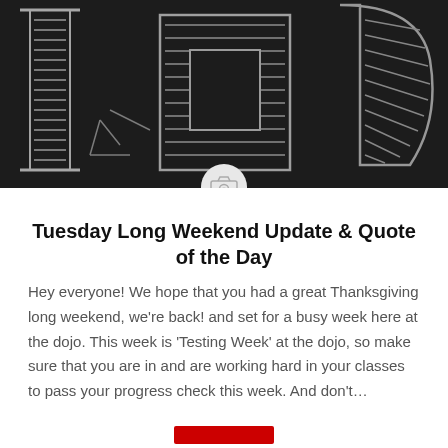[Figure (photo): Black and white photograph of chalk drawings on a chalkboard, with large chalky letter/number shapes. A circular camera icon overlay appears at the bottom center of the image.]
Tuesday Long Weekend Update & Quote of the Day
Hey everyone! We hope that you had a great Thanksgiving long weekend, we're back! and set for a busy week here at the dojo. This week is 'Testing Week' at the dojo, so make sure that you are in and are working hard in your classes to pass your progress check this week. And don't…